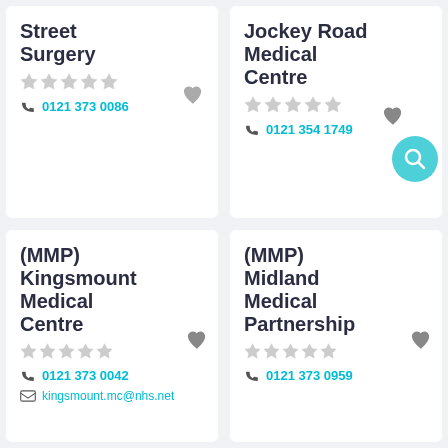Street Surgery
0121 373 0086
Jockey Road Medical Centre
0121 354 1749
(MMP) Kingsmount Medical Centre
0121 373 0042
kingsmount.mc@nhs.net
(MMP) Midland Medical Partnership
0121 373 0959